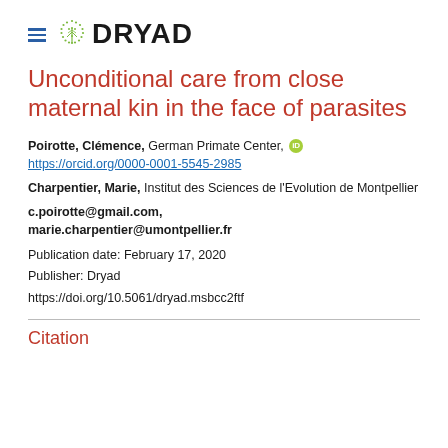DRYAD
Unconditional care from close maternal kin in the face of parasites
Poirotte, Clémence, German Primate Center, https://orcid.org/0000-0001-5545-2985
Charpentier, Marie, Institut des Sciences de l'Evolution de Montpellier
c.poirotte@gmail.com, marie.charpentier@umontpellier.fr
Publication date: February 17, 2020
Publisher: Dryad
https://doi.org/10.5061/dryad.msbcc2ftf
Citation